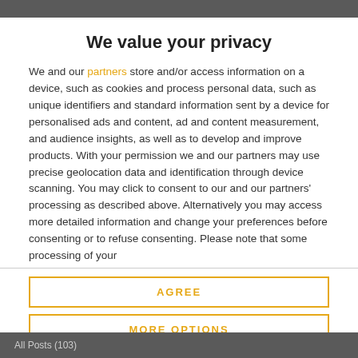We value your privacy
We and our partners store and/or access information on a device, such as cookies and process personal data, such as unique identifiers and standard information sent by a device for personalised ads and content, ad and content measurement, and audience insights, as well as to develop and improve products. With your permission we and our partners may use precise geolocation data and identification through device scanning. You may click to consent to our and our partners' processing as described above. Alternatively you may access more detailed information and change your preferences before consenting or to refuse consenting. Please note that some processing of your
AGREE
MORE OPTIONS
All Posts (103)